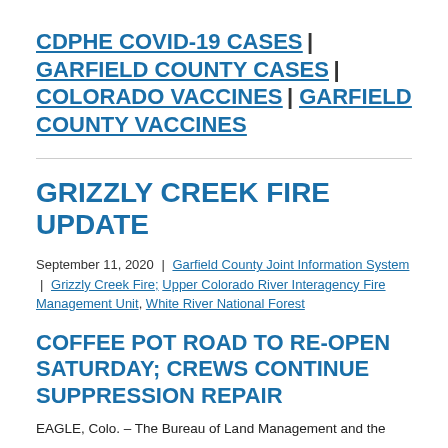CDPHE COVID-19 CASES | GARFIELD COUNTY CASES | COLORADO VACCINES | GARFIELD COUNTY VACCINES
GRIZZLY CREEK FIRE UPDATE
September 11, 2020 | Garfield County Joint Information System | Grizzly Creek Fire; Upper Colorado River Interagency Fire Management Unit, White River National Forest
COFFEE POT ROAD TO RE-OPEN SATURDAY; CREWS CONTINUE SUPPRESSION REPAIR
EAGLE, Colo. – The Bureau of Land Management and the